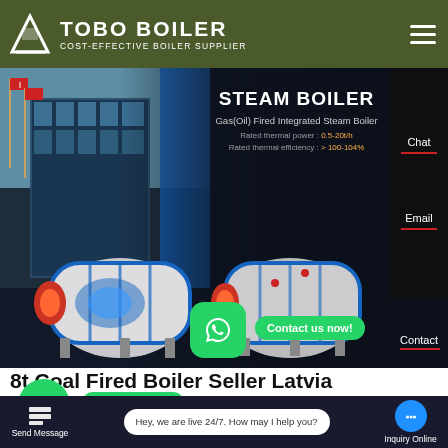TOBO BOILER — COST-EFFECTIVE BOILER SUPPLIER
[Figure (screenshot): Hero banner showing steam boiler products on dark background with building image on left. Text overlaid: STEAM BOILER, Gas(Oil) Fired Integrated Steam Boiler, Rated thermal power: 0.5-20t/h, Rated thermal efficiency: >100-104%. Sidebar shows Chat and Email links. Two industrial gas-fired steam boilers shown in center.]
8t Coal Fired Boiler Seller Latvia
[Figure (screenshot): WhatsApp floating button and Contact us now! button overlay at bottom of hero image.]
Hey, we are live 24/7. How may I help you?